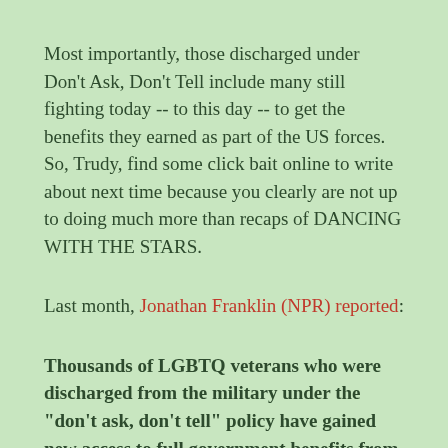Most importantly, those discharged under Don't Ask, Don't Tell include many still fighting today -- to this day -- to get the benefits they earned as part of the US forces. So, Trudy, find some click bait online to write about next time because you clearly are not up to doing much more than recaps of DANCING WITH THE STARS.
Last month, Jonathan Franklin (NPR) reported:
Thousands of LGBTQ veterans who were discharged from the military under the "don't ask, don't tell" policy have gained new access to full government benefits from the Department of Veterans Affairs.
The announcement, issued Monday on the 10th